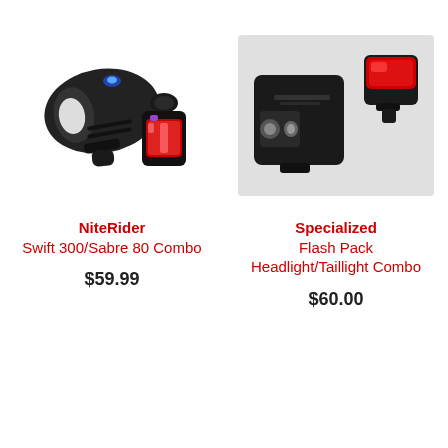[Figure (photo): NiteRider Swift 300 headlight (black, with blue LED accent) and Sabre 80 taillight (red LED bar) combo bicycle lights]
NiteRider
Swift 300/Sabre 80 Combo
$59.99
[Figure (photo): Specialized Flash Pack Headlight and Taillight Combo: black rectangular headlight and red square taillight]
Specialized
Flash Pack
Headlight/Taillight Combo
$60.00